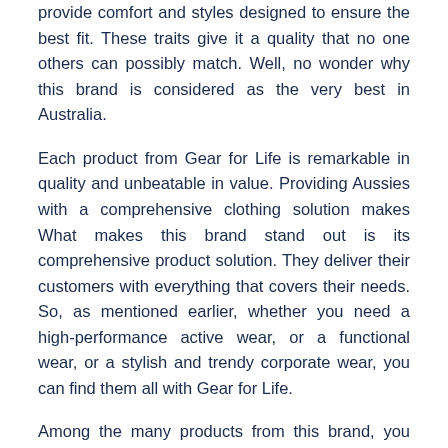provide comfort and styles designed to ensure the best fit. These traits give it a quality that no one others can possibly match. Well, no wonder why this brand is considered as the very best in Australia.
Each product from Gear for Life is remarkable in quality and unbeatable in value. Providing Aussies with a comprehensive clothing solution makes What makes this brand stand out is its comprehensive product solution. They deliver their customers with everything that covers their needs. So, as mentioned earlier, whether you need a high-performance active wear, or a functional wear, or a stylish and trendy corporate wear, you can find them all with Gear for Life.
Among the many products from this brand, you can also find a collection of quality Singlets. Singlets are one of the most sought-after products in Australia and all over the world. The reason behind the wide popularity of this clothing is that it is one of the most functional garments and provides each wearer with the best of comfort and aids in performing his best.
Singlets are known all around the world in a variety of names.